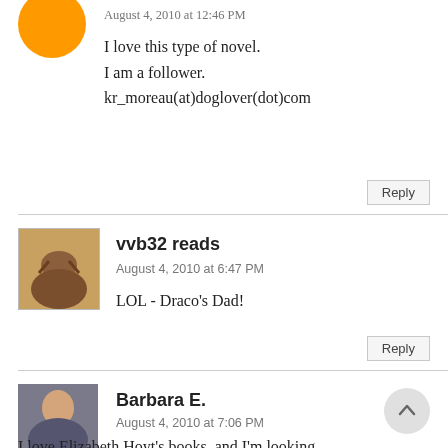August 4, 2010 at 12:46 PM
I love this type of novel.
I am a follower.
kr_moreau(at)doglover(dot)com
Reply
vvb32 reads
August 4, 2010 at 6:47 PM
LOL - Draco's Dad!
Reply
Barbara E.
August 4, 2010 at 7:06 PM
I love Elizabeth Hoyt's books, and I'm looking for…